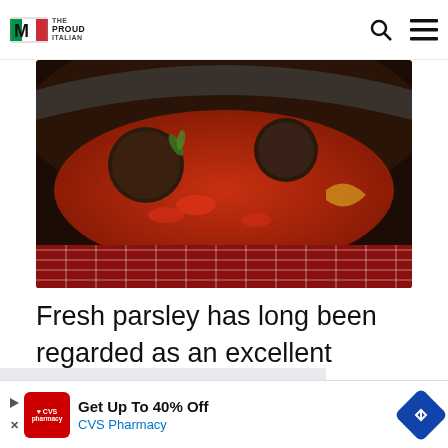The Proud Italian
[Figure (photo): A cast iron pan or dark pot containing braised meatballs or meat in a rich red tomato sauce, with herbs, placed on a red and white checkered cloth.]
Fresh parsley has long been regarded as an excellent garnish in garnishing meals due to its colorful, green look and herbal flavor that complements other cuisines. As a result, fresh
This website uses cookies to ensure you get the best experience on our website.
of
Got it!
[Figure (infographic): CVS Pharmacy advertisement banner: Get Up To 40% Off CVS Pharmacy]